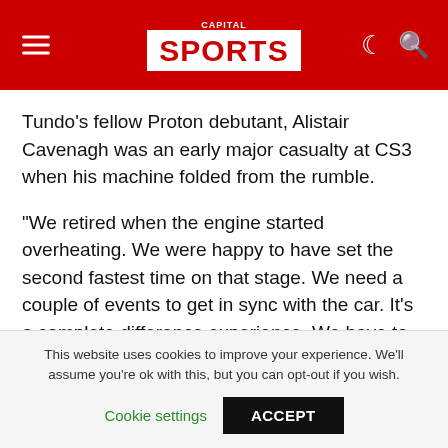CAPITAL SPORTS
Tundo's fellow Proton debutant, Alistair Cavenagh was an early major casualty at CS3 when his machine folded from the rumble.
“We retired when the engine started overheating. We were happy to have set the second fastest time on that stage. We need a couple of events to get in sync with the car. It’s a complete difference experience. We have to be more aggressive and learn to brake on time.”
Earlier, Rajbir Rai who had a good run Saturday bowed out after the throttle sensor of his Mitsubishi Evo 10
This website uses cookies to improve your experience. We’ll assume you’re ok with this, but you can opt-out if you wish.
Cookie settings   ACCEPT